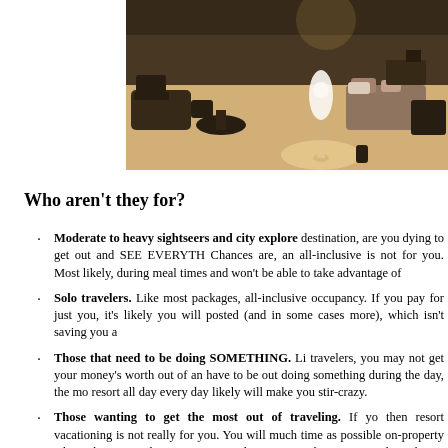[Figure (photo): Interior photo of a hotel or resort outdoor lounge/patio area with warm lighting, furniture including chairs and loungers, and a glowing white floor lamp.]
Who aren't they for?
Moderate to heavy sightseers and city explorers. When you arrive at your destination, are you dying to get out and SEE EVERYTHING and DO EVERYTHING? Chances are, an all-inclusive is not for you. Most likely, you'll have to be back during meal times and won't be able to take advantage of
Solo travelers. Like most packages, all-inclusive resorts are priced based on double-occupancy. If you pay for just you, it's likely you will pay the double-occupancy rate posted (and in some cases more), which isn't saving you a
Those that need to be doing SOMETHING. Like the active and adventurous travelers, you may not get your money's worth out of an all-inclusive. If you have to be out doing something during the day, the money spent to stay at the resort all day every day likely will make you stir-crazy.
Those wanting to get the most out of traveling. If yo then resort vacationing is not really for you. You will much time as possible on-property when what you re discovering a new destination and seeing everything the